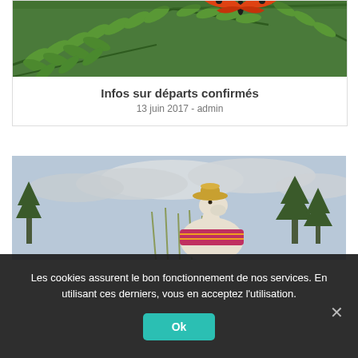[Figure (photo): Close-up of green fern leaves with an orange and black butterfly on top, in natural outdoor setting]
Infos sur départs confirmés
13 juin 2017 - admin
[Figure (photo): Outdoor scene with a white llama wearing a hat and colorful scarf, trees in the background under cloudy sky]
Les cookies assurent le bon fonctionnement de nos services. En utilisant ces derniers, vous en acceptez l'utilisation.